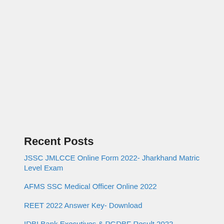Recent Posts
JSSC JMLCCE Online Form 2022- Jharkhand Matric Level Exam
AFMS SSC Medical Officer Online 2022
REET 2022 Answer Key- Download
IDBI Bank Executives & PGDBF Result 2022
UPPCL Executive Assistant (EA) Recruitment Online 2022